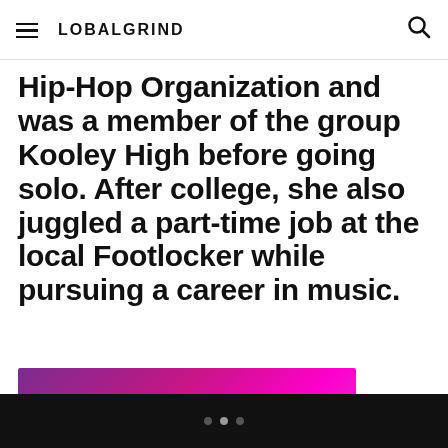GLOBALGRIND
Hip-Hop Organization and was a member of the group Kooley High before going solo. After college, she also juggled a part-time job at the local Footlocker while pursuing a career in music.
[Figure (photo): Photo of a performer on stage under bright pink/magenta lighting, holding a microphone, partially visible at bottom of page.]